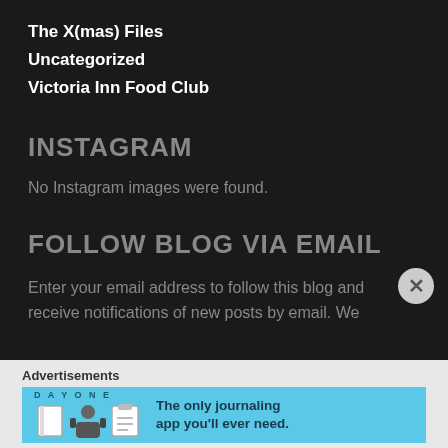The X(mas) Files
Uncategorized
Victoria Inn Food Club
INSTAGRAM
No Instagram images were found.
FOLLOW BLOG VIA EMAIL
Enter your email address to follow this blog and receive notifications of new posts by email. We
Advertisements
[Figure (infographic): Day One journaling app advertisement banner with icons and text: The only journaling app you'll ever need.]